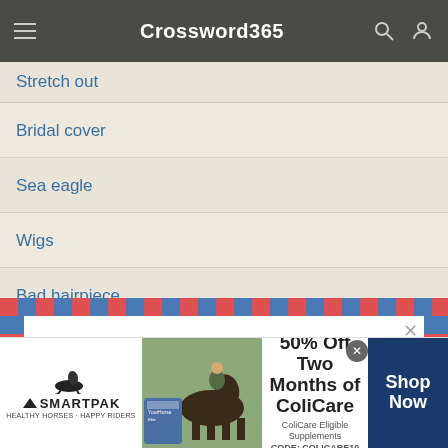Crossword365
Stretch out
Bridal cover
Sea eagle
Wigs
Bad hairpiece
Gym unit
Get the Eugene Sheffer Crossword Answers delivered to your inbox every day!
[Figure (screenshot): Email subscription input field with dark send button]
[Figure (screenshot): SmartPak advertisement: 50% Off Two Months of ColiCare, ColiCare Eligible Supplements, CODE: COLICARE10, Shop Now button]